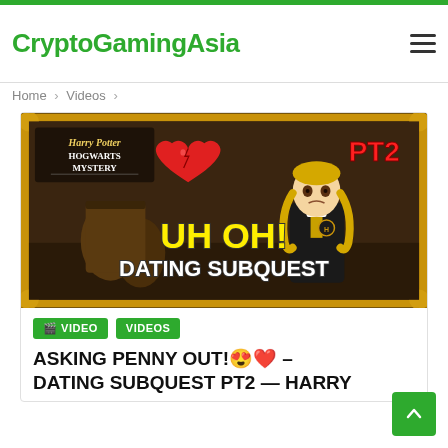CryptoGamingAsia
Home > Videos >
[Figure (screenshot): Video thumbnail for Harry Potter Hogwarts Mystery dating subquest part 2. Shows animated character with broken heart, text 'UH OH! DATING SUBQUEST' in yellow/white, 'PT2' in red, and Harry Potter Hogwarts Mystery logo.]
VIDEO
VIDEOS
ASKING PENNY OUT!😍❤️ – DATING SUBQUEST PT2 — HARRY